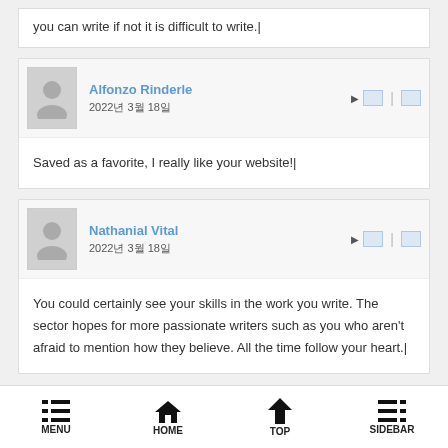you can write if not it is difficult to write.|
Alfonzo Rinderle
2022년 3월 18일
Saved as a favorite, I really like your website!|
Nathanial Vital
2022년 3월 18일
You could certainly see your skills in the work you write. The sector hopes for more passionate writers such as you who aren't afraid to mention how they believe. All the time follow your heart.|
MENU  HOME  TOP  SIDEBAR